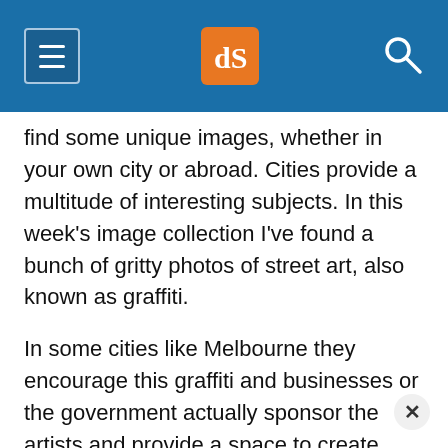dPS navigation header with hamburger menu, logo, and search icon
find some unique images, whether in your own city or abroad. Cities provide a multitude of interesting subjects. In this week’s image collection I’ve found a bunch of gritty photos of street art, also known as graffiti.
In some cities like Melbourne they encourage this graffiti and businesses or the government actually sponsor the artists and provide a space to create murals and street art.
Enjoy this series of grungy, gritty, street